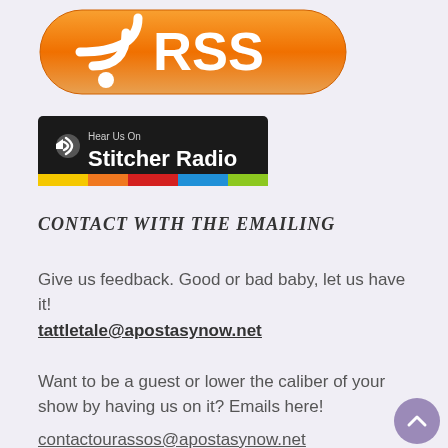[Figure (logo): Orange RSS button with RSS text and wifi/signal icon]
[Figure (logo): Hear Us On Stitcher Radio badge with colorful bar at bottom]
CONTACT WITH THE EMAILING
Give us feedback. Good or bad baby, let us have it!
tattletale@apostasynow.net
Want to be a guest or lower the caliber of your show by having us on it? Emails here!
contactourassos@apostasynow.net